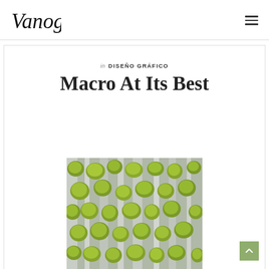Vanog
in  DISEÑO GRÁFICO
Macro At Its Best
[Figure (photo): Close-up macro photograph of green moss growing on tree bark/stone surface, showing rounded clusters of bright yellow-green moss against grey-white textured background]